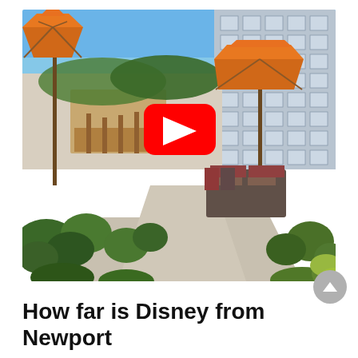[Figure (photo): Outdoor patio area with large orange tent-style umbrellas, green plants/shrubs, seating with red cushions, and a modern glass office building in the background. A YouTube play button overlay is centered on the image.]
How far is Disney from Newport